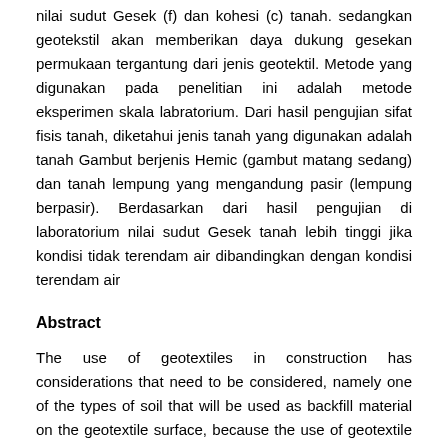nilai sudut Gesek (f) dan kohesi (c) tanah. sedangkan geotekstil akan memberikan daya dukung gesekan permukaan tergantung dari jenis geotektil. Metode yang digunakan pada penelitian ini adalah metode eksperimen skala labratorium. Dari hasil pengujian sifat fisis tanah, diketahui jenis tanah yang digunakan adalah tanah Gambut berjenis Hemic (gambut matang sedang) dan tanah lempung yang mengandung pasir (lempung berpasir). Berdasarkan dari hasil pengujian di laboratorium nilai sudut Gesek tanah lebih tinggi jika kondisi tidak terendam air dibandingkan dengan kondisi terendam air
Abstract
The use of geotextiles in construction has considerations that need to be considered, namely one of the types of soil that will be used as backfill material on the geotextile surface, because the use of geotextile types and soil types will have an influence on the frictional forces of the geotextile-soil surface. The contact of the soil-geotextile surface will produce a value of the surface friction ratio